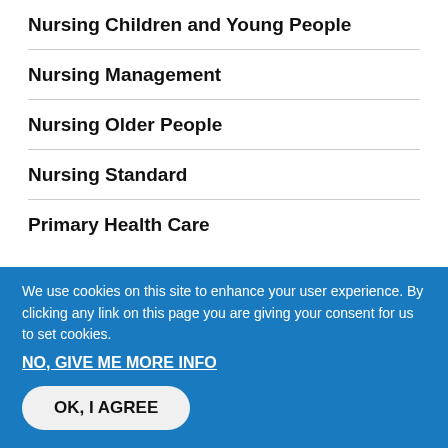Nursing Children and Young People
Nursing Management
Nursing Older People
Nursing Standard
Primary Health Care
Other RCNi websites
RCNi Decision Support
RCNi Learning
We use cookies on this site to enhance your user experience. By clicking any link on this page you are giving your consent for us to set cookies.
NO, GIVE ME MORE INFO
OK, I AGREE